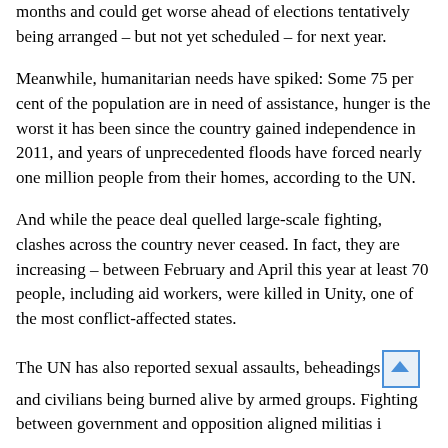months and could get worse ahead of elections tentatively being arranged – but not yet scheduled – for next year.
Meanwhile, humanitarian needs have spiked: Some 75 per cent of the population are in need of assistance, hunger is the worst it has been since the country gained independence in 2011, and years of unprecedented floods have forced nearly one million people from their homes, according to the UN.
And while the peace deal quelled large-scale fighting, clashes across the country never ceased. In fact, they are increasing – between February and April this year at least 70 people, including aid workers, were killed in Unity, one of the most conflict-affected states.
The UN has also reported sexual assaults, beheadings and civilians being burned alive by armed groups. Fighting between government and opposition aligned militias i…